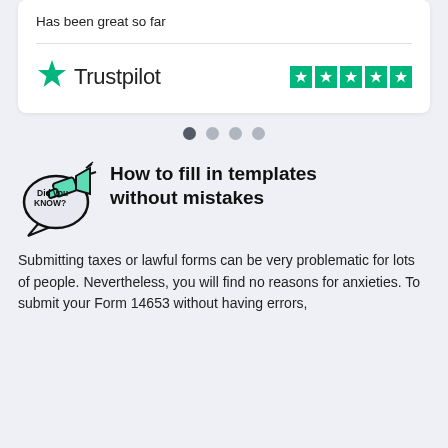Has been great so far
[Figure (logo): Trustpilot logo with green star and five small green rating stars]
[Figure (illustration): Carousel navigation dots, four dots with the first one darkened/active]
[Figure (illustration): Did you know? speech bubble illustration with megaphone]
How to fill in templates without mistakes
Submitting taxes or lawful forms can be very problematic for lots of people. Nevertheless, you will find no reasons for anxieties. To submit your Form 14653 without having errors,